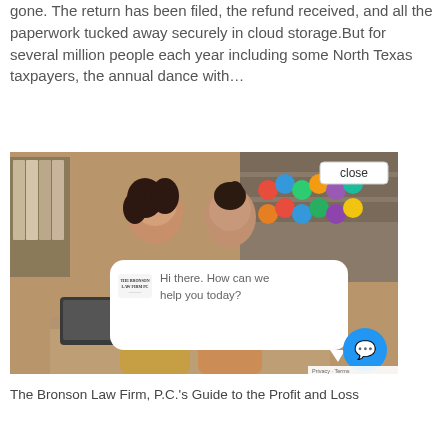gone. The return has been filed, the refund received, and all the paperwork tucked away securely in cloud storage.But for several million people each year including some North Texas taxpayers, the annual dance with…
[Figure (photo): Two women working together in what appears to be a craft or fabric shop, smiling and looking at documents on a desk, with shelves of colorful thread spools in the background. A chat widget overlay is visible showing the Bronson Law Firm PC logo and the message 'Hi there. How can we help you today?' along with a blue chat button and a close button.]
The Bronson Law Firm, P.C.'s Guide to the Profit and Loss